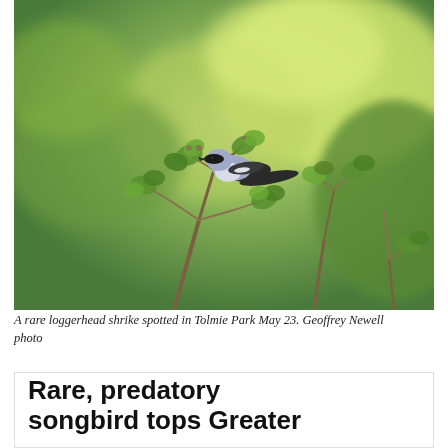[Figure (photo): A loggerhead shrike bird perched on a branch with green leaves and blurred green background]
A rare loggerhead shrike spotted in Tolmie Park May 23. Geoffrey Newell photo
Rare, predatory songbird tops Greater